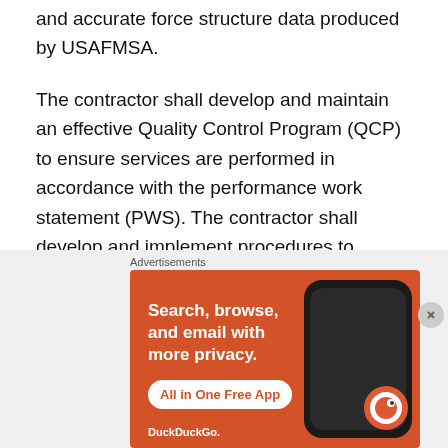and accurate force structure data produced by USAFMSA.
The contractor shall develop and maintain an effective Quality Control Program (QCP) to ensure services are performed in accordance with the performance work statement (PWS). The contractor shall develop and implement procedures to identify, prevent, and ensure non-recurrence of defective services.
The contractor is responsible for performance on the contract between the hours of 8:00-6:00 Monday thru Friday except Federal holidays or when the Government facility is...
[Figure (other): DuckDuckGo advertisement banner with orange background. Text reads 'Search, browse, and email with more privacy. All in One Free App' with a phone graphic and DuckDuckGo logo.]